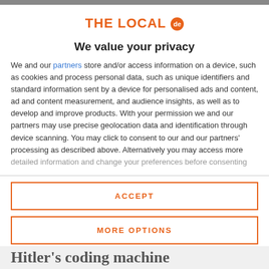THE LOCAL de
We value your privacy
We and our partners store and/or access information on a device, such as cookies and process personal data, such as unique identifiers and standard information sent by a device for personalised ads and content, ad and content measurement, and audience insights, as well as to develop and improve products. With your permission we and our partners may use precise geolocation data and identification through device scanning. You may click to consent to our and our partners' processing as described above. Alternatively you may access more detailed information and change your preferences before consenting
ACCEPT
MORE OPTIONS
Hitler's coding machine